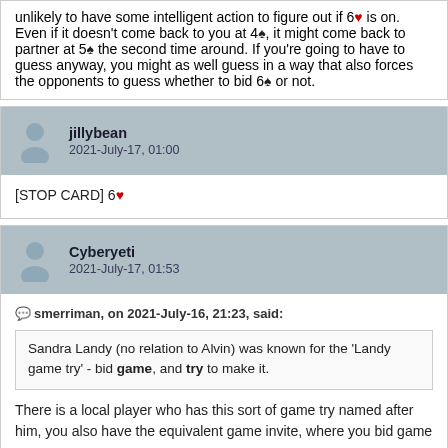unlikely to have some intelligent action to figure out if 6♥ is on. Even if it doesn't come back to you at 4♠, it might come back to partner at 5♠ the second time around. If you're going to have to guess anyway, you might as well guess in a way that also forces the opponents to guess whether to bid 6♠ or not.
jillybean
2021-July-17, 01:00
[STOP CARD] 6♥
Cyberyeti
2021-July-17, 01:53
smerriman, on 2021-July-16, 21:23, said:
Sandra Landy (no relation to Alvin) was known for the 'Landy game try' - bid game, and try to make it.
There is a local player who has this sort of game try named after him, you also have the equivalent game invite, where you bid game